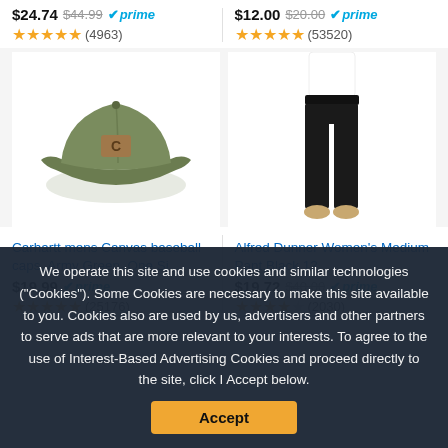$24.74  $44.99  prime  ★★★★½ (4963)
$12.00  $20.00  prime  ★★★★½ (53520)
[Figure (photo): Carhartt olive green canvas baseball cap with leather logo patch]
[Figure (photo): Alfred Dunner women's black wide leg pants on model]
Carhartt mens Canvas baseball caps, Army Green, One Si...
Alfred Dunner Women's Medium Pant,Black,12
$19.99  prime  ★★★★★ (25176)
$19.72  $40.00  prime  ★★★★½ (2030)
We operate this site and use cookies and similar technologies ("Cookies"). Some Cookies are necessary to make this site available to you. Cookies also are used by us, advertisers and other partners to serve ads that are more relevant to your interests. To agree to the use of Interest-Based Advertising Cookies and proceed directly to the site, click I Accept below.
Accept